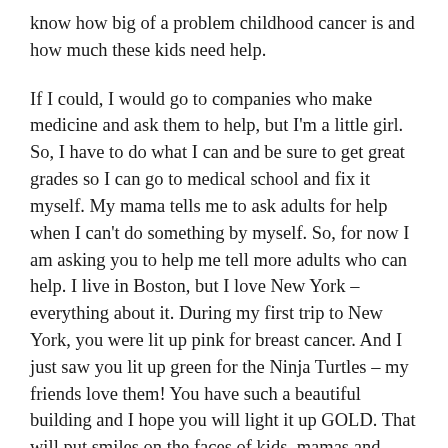know how big of a problem childhood cancer is and how much these kids need help.
If I could, I would go to companies who make medicine and ask them to help, but I'm a little girl. So, I have to do what I can and be sure to get great grades so I can go to medical school and fix it myself. My mama tells me to ask adults for help when I can't do something by myself. So, for now I am asking you to help me tell more adults who can help. I live in Boston, but I love New York – everything about it. During my first trip to New York, you were lit up pink for breast cancer. And I just saw you lit up green for the Ninja Turtles – my friends love them! You have such a beautiful building and I hope you will light it up GOLD. That will put smiles on the faces of kids, mamas and daddies everywhere!
I know you are very busy. So, if you take one thing